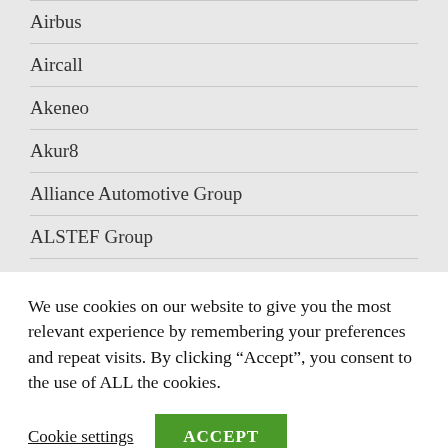Airbus
Aircall
Akeneo
Akur8
Alliance Automotive Group
ALSTEF Group
Amazon
Approach People Recruitment
Aquent
We use cookies on our website to give you the most relevant experience by remembering your preferences and repeat visits. By clicking “Accept”, you consent to the use of ALL the cookies.
Cookie settings
ACCEPT